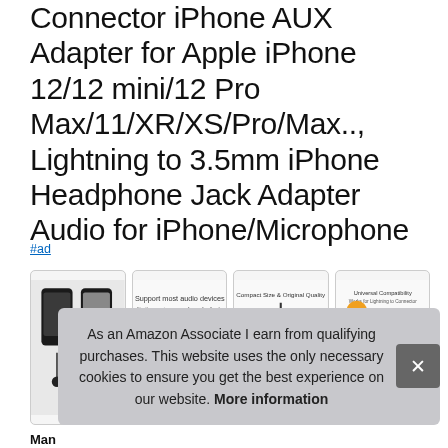Connector iPhone AUX Adapter for Apple iPhone 12/12 mini/12 Pro Max/11/XR/XS/Pro/Max.., Lightning to 3.5mm iPhone Headphone Jack Adapter Audio for iPhone/Microphone
#ad
[Figure (photo): Four product thumbnail images showing Lightning to 3.5mm headphone jack adapter for iPhone]
As an Amazon Associate I earn from qualifying purchases. This website uses the only necessary cookies to ensure you get the best experience on our website. More information
Man...
customer service Compare with similar items. What you get: